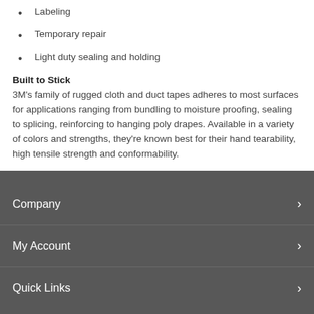Labeling
Temporary repair
Light duty sealing and holding
Built to Stick
3M's family of rugged cloth and duct tapes adheres to most surfaces for applications ranging from bundling to moisture proofing, sealing to splicing, reinforcing to hanging poly drapes. Available in a variety of colors and strengths, they're known best for their hand tearability, high tensile strength and conformability.
Company
My Account
Quick Links